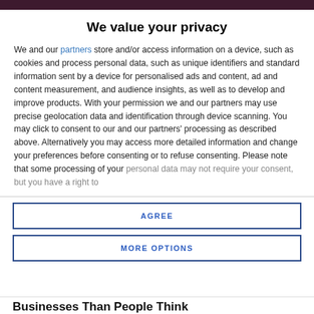We value your privacy
We and our partners store and/or access information on a device, such as cookies and process personal data, such as unique identifiers and standard information sent by a device for personalised ads and content, ad and content measurement, and audience insights, as well as to develop and improve products. With your permission we and our partners may use precise geolocation data and identification through device scanning. You may click to consent to our and our partners' processing as described above. Alternatively you may access more detailed information and change your preferences before consenting or to refuse consenting. Please note that some processing of your personal data may not require your consent, but you have a right to
AGREE
MORE OPTIONS
Businesses Than People Think